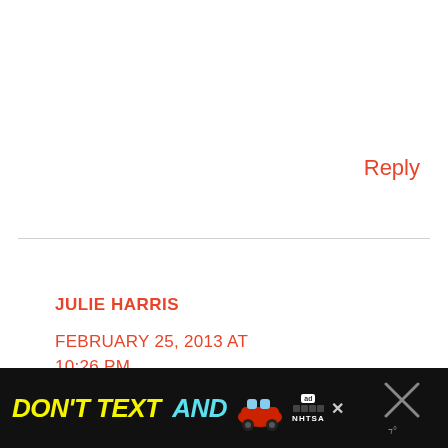Reply
JULIE HARRIS
FEBRUARY 25, 2013 AT 10:26 PM
My Very Own Fairy Tale Storybook
[Figure (screenshot): Advertisement banner at bottom: black background with yellow bold italic text 'DON'T TEXT' and cyan 'AND', a red car emoji, NHTSA ad label, and close buttons]
DON'T TEXT AND [car image] ad NHTSA